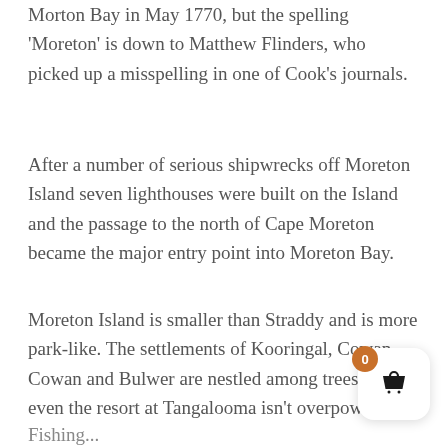Morton Bay in May 1770, but the spelling 'Moreton' is down to Matthew Flinders, who picked up a misspelling in one of Cook's journals.
After a number of serious shipwrecks off Moreton Island seven lighthouses were built on the Island and the passage to the north of Cape Moreton became the major entry point into Moreton Bay.
Moreton Island is smaller than Straddy and is more park-like. The settlements of Kooringal, Cowan Cowan and Bulwer are nestled among trees and even the resort at Tangalooma isn't overpowering.
Fishing...